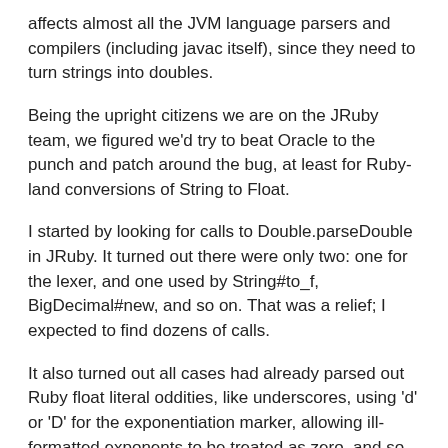affects almost all the JVM language parsers and compilers (including javac itself), since they need to turn strings into doubles.
Being the upright citizens we are on the JRuby team, we figured we'd try to beat Oracle to the punch and patch around the bug, at least for Ruby-land conversions of String to Float.
I started by looking for calls to Double.parseDouble in JRuby. It turned out there were only two: one for the lexer, and one used by String#to_f, BigDecimal#new, and so on. That was a relief; I expected to find dozens of calls.
It also turned out all cases had already parsed out Ruby float literal oddities, like underscores, using 'd' or 'D' for the exponentiation marker, allowing ill-formatted exponents to be treated as zero, and so on.
My first attempt was to simply normalize the cleaned-up string and pass it to new java.math.BigDecimal(), converting that result back to a primitive double. Unfortunately,